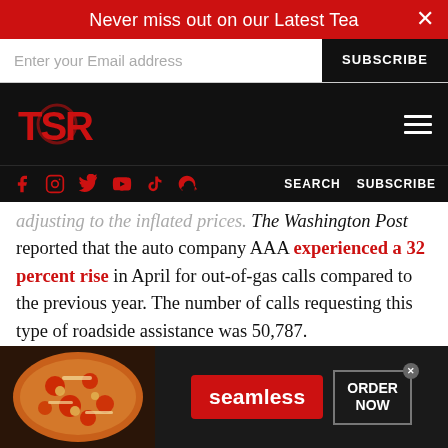Never miss out on our Latest Tea
Enter your Email address | SUBSCRIBE
[Figure (logo): TSR logo in red on black background with hamburger menu icon]
Social icons (Facebook, Instagram, Twitter, YouTube, TikTok, Snapchat) | SEARCH | SUBSCRIBE
adjusting to the inflated prices. The Washington Post reported that the auto company AAA experienced a 32 percent rise in April for out-of-gas calls compared to the previous year. The number of calls requesting this type of roadside assistance was 50,787.
[Figure (photo): Seamless food delivery advertisement with pizza image, red Seamless button, and ORDER NOW button]